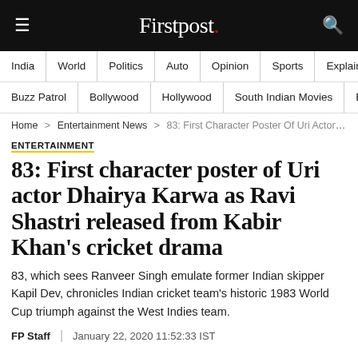Firstpost.
India | World | Politics | Auto | Opinion | Sports | Explainers
Buzz Patrol | Bollywood | Hollywood | South Indian Movies | Box
Home > Entertainment News > 83: First Character Poster Of Uri Actor Dhairya
ENTERTAINMENT
83: First character poster of Uri actor Dhairya Karwa as Ravi Shastri released from Kabir Khan's cricket drama
83, which sees Ranveer Singh emulate former Indian skipper Kapil Dev, chronicles Indian cricket team's historic 1983 World Cup triumph against the West Indies team.
FP Staff | January 22, 2020 11:52:33 IST